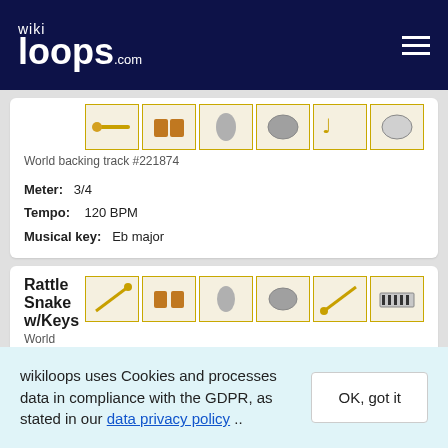wikiloops.com
World backing track #221874
Meter: 3/4
Tempo: 120 BPM
Musical key: Eb major
Rattle Snake w/Keys
World backing track #156335
Meter: 4/4
wikiloops uses Cookies and processes data in compliance with the GDPR, as stated in our data privacy policy ..